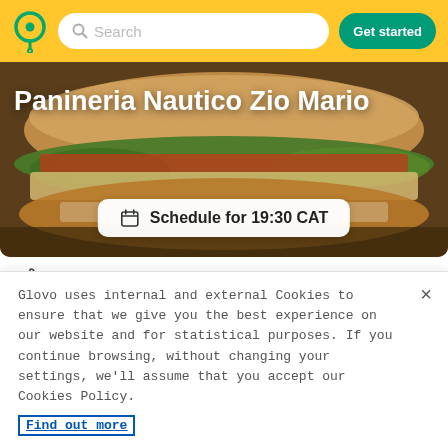Search | Get started
[Figure (photo): Hero image of a submarine sandwich with lettuce, tomato, and grilled chicken on a bun. Restaurant name 'Panineria Nautico Zio Mario' overlaid in white bold text. A 'Schedule for 19:30 CAT' button overlaid at the bottom of the image.]
👍 --
[Figure (photo): Partial image of a food plate with salad greens, a grilled chicken or fish piece, and colorful vegetables, visible at the bottom portion.]
Glovo uses internal and external Cookies to ensure that we give you the best experience on our website and for statistical purposes. If you continue browsing, without changing your settings, we'll assume that you accept our Cookies Policy. Find out more